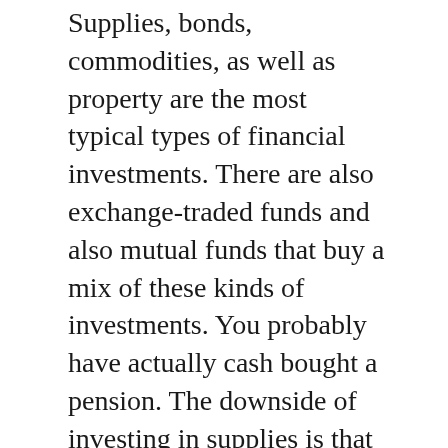Supplies, bonds, commodities, as well as property are the most typical types of financial investments. There are also exchange-traded funds and also mutual funds that buy a mix of these kinds of investments. You probably have actually cash bought a pension. The downside of investing in supplies is that you will certainly have an item of a firm. As a result, losing money on stocks can be ravaging. As a result, it is suggested to locate a monetary advisor to help you select the best investments.
One more sort of financial investment is bonds. Bonds are like IOUs from a nation or company, which they promise to pay a set amount of rate of interest over a particular time period. On top of that, bonds have lower interest rates than stocks and also are much less dangerous than cash. If you're interested in spending yet don't know what type of financial investment to make, bonds are a great place to start. The danger of bonds is